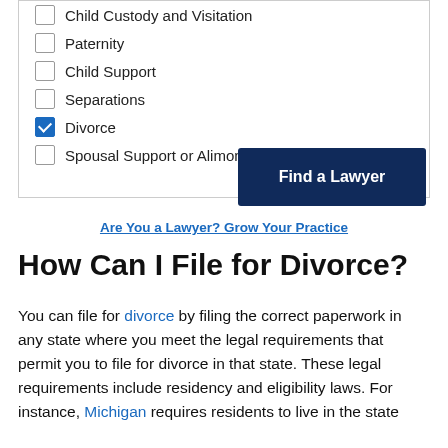Child Custody and Visitation
Paternity
Child Support
Separations
Divorce (checked)
Spousal Support or Alimony
Find a Lawyer
Are You a Lawyer? Grow Your Practice
How Can I File for Divorce?
You can file for divorce by filing the correct paperwork in any state where you meet the legal requirements that permit you to file for divorce in that state. These legal requirements include residency and eligibility laws. For instance, Michigan requires residents to live in the state